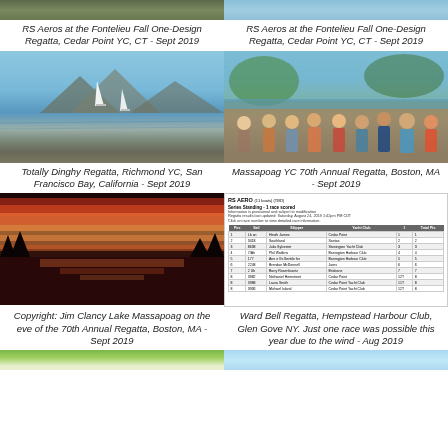[Figure (photo): Partial top photo of RS Aeros sailboats, left column]
[Figure (photo): Partial top photo of RS Aeros sailboats, right column]
RS Aeros at the Fontelieu Fall One-Design Regatta, Cedar Point YC, CT - Sept 2019
RS Aeros at the Fontelieu Fall One-Design Regatta, Cedar Point YC, CT - Sept 2019
[Figure (photo): Sailing boats on water, mountains in background, San Francisco Bay]
[Figure (photo): Group of sailors/people posing outdoors near water]
Totally Dinghy Regatta, Richmond YC, San Francisco Bay, California - Sept 2019
Massapoag YC 70th Annual Regatta, Boston, MA - Sept 2019
[Figure (photo): Sunset over Lake Massapoag with vivid red and orange sky reflected on water]
[Figure (table-as-image): RS Aero regatta results table - Ward Bell Regatta Series Standing, 1 race scored, showing 9 sailors with their sail numbers, names, yacht clubs, race scores and total points]
Copyright: Jim Clancy Lake Massapoag on the eve of the 70th Annual Regatta, Boston, MA - Sept 2019
Ward Bell Regatta, Hempstead Harbour Club, Glen Gove NY. Just one race was possible this year due to the wind - Aug 2019
[Figure (photo): Partial bottom photo left - person with RS Aero logo visible]
[Figure (photo): Partial bottom photo right - light blue water/sky]